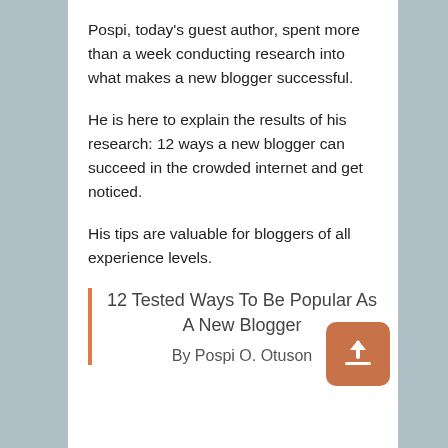Pospi, today's guest author, spent more than a week conducting research into what makes a new blogger successful.
He is here to explain the results of his research: 12 ways a new blogger can succeed in the crowded internet and get noticed.
His tips are valuable for bloggers of all experience levels.
12 Tested Ways To Be Popular As A New Blogger
By Pospi O. Otuson